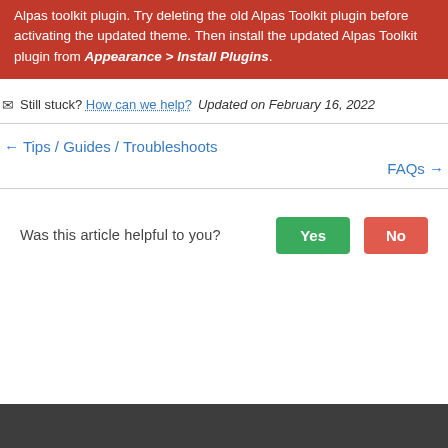Alpas toolkit plugin. Try deleting the old Alpas Toolkit plugin before activating the updated theme. Then install the updated Alpas Toolkit plugin from Appearance > Install Plugins.
Still stuck? How can we help? Updated on February 16, 2022
← Tips / Guides / Troubleshoots
FAQs →
Was this article helpful to you? Yes No